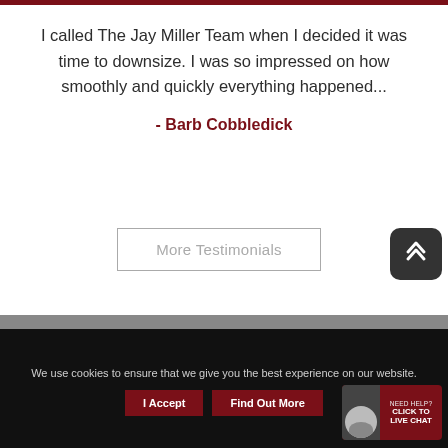I called The Jay Miller Team when I decided it was time to downsize. I was so impressed on how smoothly and quickly everything happened...
- Barb Cobbledick
More Testimonials
We use cookies to ensure that we give you the best experience on our website.
I Accept
Find Out More
NEED HELP? CLICK TO LIVE CHAT